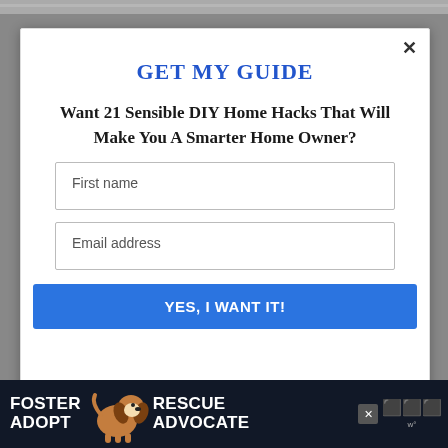[Figure (photo): Top strip of a photo, partially visible at the top of the page behind a modal overlay]
GET MY GUIDE
Want 21 Sensible DIY Home Hacks That Will Make You A Smarter Home Owner?
First name
Email address
YES, I WANT IT!
[Figure (infographic): Bottom advertisement banner with dark background showing text FOSTER ADOPT, a dog photo, and RESCUE ADVOCATE text with close button and app icon]